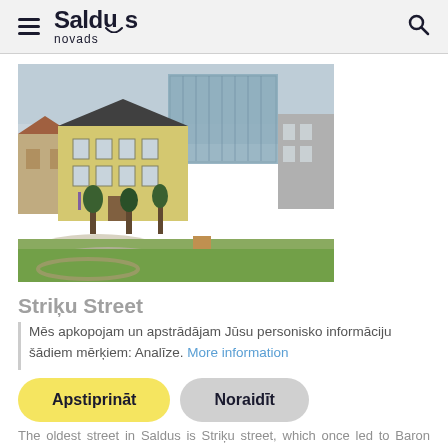Saldus novads
[Figure (photo): Street view of Saldus town center showing historic yellow buildings, modern glass building in background, green lawn area in foreground]
Striķu Street
Mēs apkopojam un apstrādājam Jūsu personisko informāciju šādiem mērķiem: Analīze. More information
Apstiprināt   Noraidīt
The oldest street in Saldus is Striķu street, which once led to Baron Behr's estate – Striķi manor. After the granting of town rights in 1856, the first buildings appeared in Striķ...